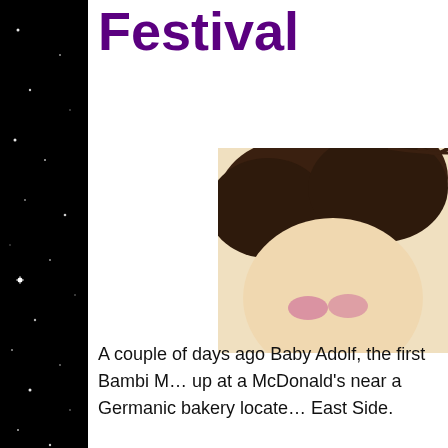Festival
[Figure (photo): Partial photo of a person's head showing dark brown hair, cropped at top right of page]
A couple of days ago Baby Adolf, the first Bambi M… up at a McDonald's near a Germanic bakery locate… East Side.